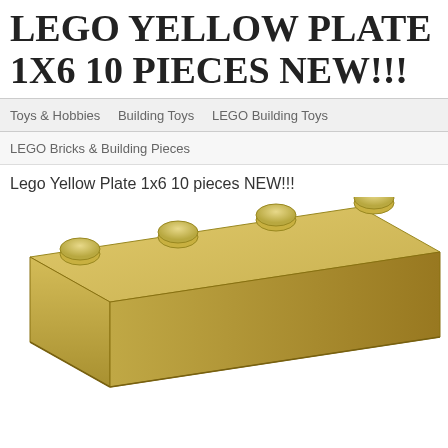LEGO YELLOW PLATE 1X6 10 PIECES NEW!!!
Toys & Hobbies   Building Toys   LEGO Building Toys
LEGO Bricks & Building Pieces
Lego Yellow Plate 1x6 10 pieces NEW!!!
[Figure (photo): A yellow LEGO 1x6 plate/brick photographed diagonally showing four studs on top, tan/light yellow color, close-up product photo on white background]